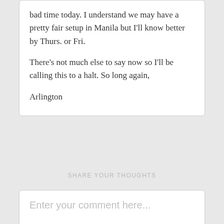bad time today. I understand we may have a pretty fair setup in Manila but I'll know better by Thurs. or Fri.

There's not much else to say now so I'll be calling this to a halt. So long again,

Arlington
SHARE YOUR THOUGHTS
Enter your comment here...